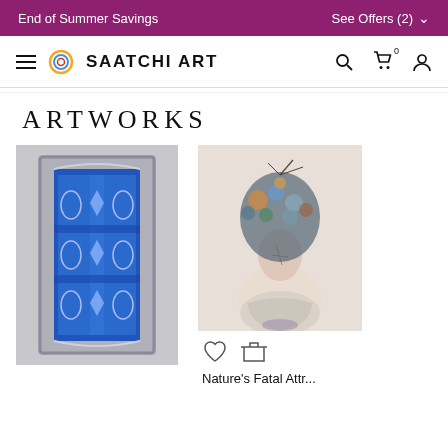End of Summer Savings   See Offers (2)
[Figure (logo): Saatchi Art navigation bar with hamburger menu, circular logo, brand name SAATCHI ART, search icon, cart icon with 0, and user icon]
ARTWORKS
[Figure (photo): Ornate blue decorative panel artwork with intricate scrollwork and floral patterns in blue and silver/white tones on grey background]
[Figure (photo): Painting of a figure with a large floral headpiece, face with cross-stitch marks, wearing light clothing, soft watercolor style]
Nature's Fatal Attr...